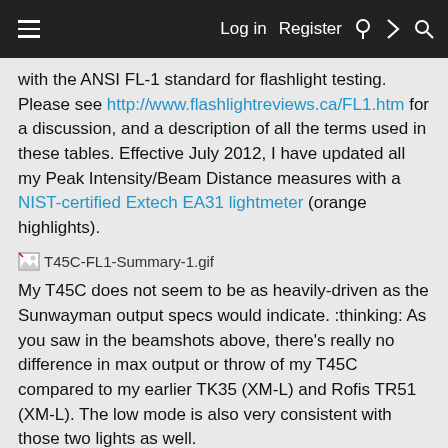Log in  Register
with the ANSI FL-1 standard for flashlight testing. Please see http://www.flashlightreviews.ca/FL1.htm for a discussion, and a description of all the terms used in these tables. Effective July 2012, I have updated all my Peak Intensity/Beam Distance measures with a NIST-certified Extech EA31 lightmeter (orange highlights).
[Figure (other): Broken image placeholder for T45C-FL1-Summary-1.gif]
My T45C does not seem to be as heavily-driven as the Sunwayman output specs would indicate. :thinking: As you saw in the beamshots above, there's really no difference in max output or throw of my T45C compared to my earlier TK35 (XM-L) and Rofis TR51 (XM-L). The low mode is also very consistent with those two lights as well.
Let's see how my output measures compare to the specs: